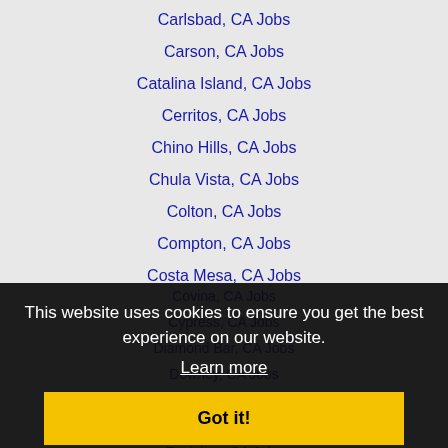Carlsbad, CA Jobs
Carson, CA Jobs
Catalina Island, CA Jobs
Cerritos, CA Jobs
Chino Hills, CA Jobs
Chula Vista, CA Jobs
Colton, CA Jobs
Compton, CA Jobs
Costa Mesa, CA Jobs
Covina, CA Jobs
Cypress, CA Jobs
Diamond Bar, CA Jobs
Downey, CA Jobs
East Los Angeles, CA Jobs
El Monte, CA Jobs
Encinitas, CA Jobs
Escondido, CA Jobs
Florence-Graham, CA Jobs
This website uses cookies to ensure you get the best experience on our website.
Learn more
Got it!